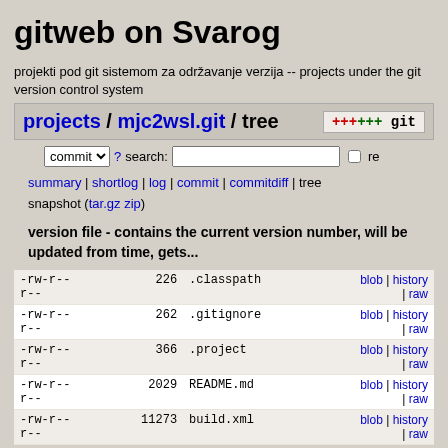gitweb on Svarog
projekti pod git sistemom za održavanje verzija -- projects under the git version control system
projects / mjc2wsl.git / tree
commit ? search: re
summary | shortlog | log | commit | commitdiff | tree snapshot (tar.gz zip)
version file - contains the current version number, will be updated from time, gets...
| permissions | size | name | actions |
| --- | --- | --- | --- |
| -rw-r--r-- | 226 | .classpath | blob | history | raw |
| -rw-r--r-- | 262 | .gitignore | blob | history | raw |
| -rw-r--r-- | 366 | .project | blob | history | raw |
| -rw-r--r-- | 2029 | README.md | blob | history | raw |
| -rw-r--r-- | 11273 | build.xml | blob | history | raw |